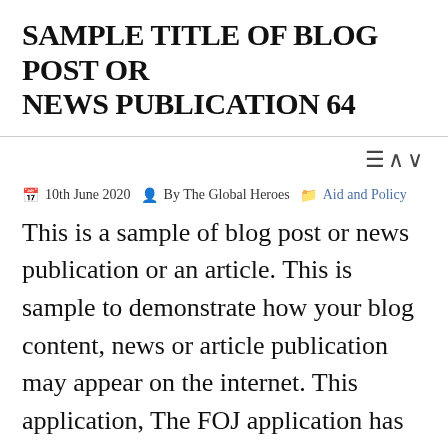SAMPLE TITLE OF BLOG POST OR NEWS PUBLICATION 64
10th June 2020  By The Global Heroes  Aid and Policy
This is a sample of blog post or news publication or an article. This is sample to demonstrate how your blog content, news or article publication may appear on the internet. This application, The FOJ application has been programmed to facilitate the publication of content online